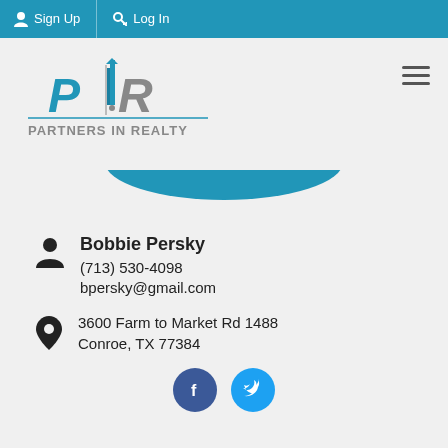Sign Up  Log In
[Figure (logo): Partners in Realty PIR logo with building graphic and blue bowl shape below]
Bobbie Persky
(713) 530-4098
bpersky@gmail.com
3600 Farm to Market Rd 1488
Conroe, TX 77384
[Figure (other): Social media icon buttons at bottom]